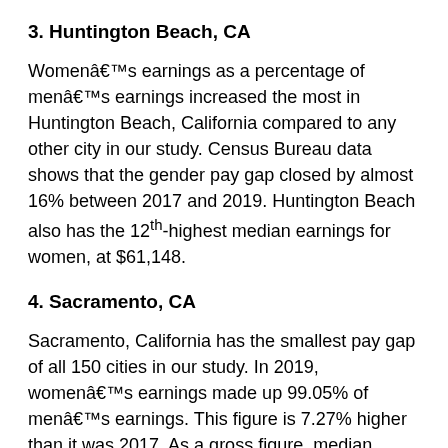3. Huntington Beach, CA
Womenâs earnings as a percentage of menâs earnings increased the most in Huntington Beach, California compared to any other city in our study. Census Bureau data shows that the gender pay gap closed by almost 16% between 2017 and 2019. Huntington Beach also has the 12th-highest median earnings for women, at $61,148.
4. Sacramento, CA
Sacramento, California has the smallest pay gap of all 150 cities in our study. In 2019, womenâs earnings made up 99.05% of menâs earnings. This figure is 7.27% higher than it was 2017. As a gross figure, median earnings for women in Sacramento are about $50,400, 31st-highest of the cities we considered.
5. Jersey City, NJ
Earnings for women in Jersey City, New Jersey grew by the